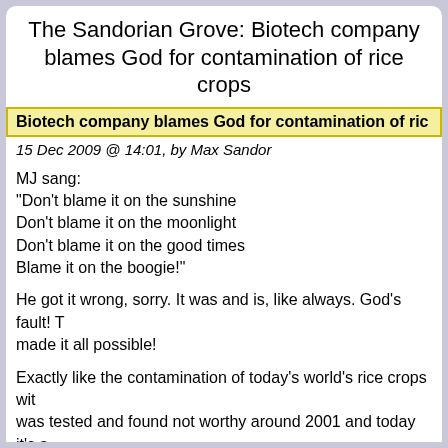The Sandorian Grove: Biotech company blames God for contamination of rice crops
Biotech company blames God for contamination of ric
15 Dec 2009 @ 14:01, by Max Sandor
MJ sang:
"Don't blame it on the sunshine
Don't blame it on the moonlight
Don't blame it on the good times
Blame it on the boogie!"

He got it wrong, sorry. It was and is, like always. God's fault! T made it all possible!

Exactly like the contamination of today's world's rice crops wit was tested and found not worthy around 2001 and today it's a

Bayer CropScience of Research Triangle Park, N.C, knows ex "act of God", [link]

So, don't blame it on the Boogie, pleeeze..